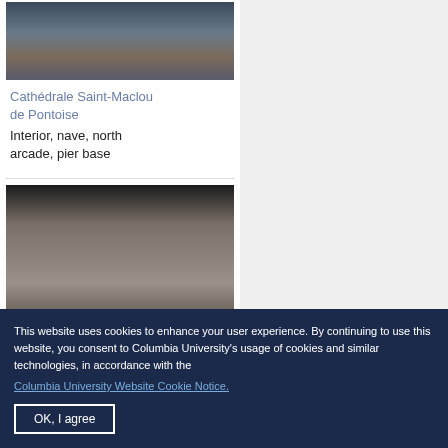[Figure (photo): Interior photograph of Cathédrale Saint-Maclou de Pontoise showing wooden chairs and architectural details]
Cathédrale Saint-Maclou de Pontoise
Interior, nave, north arcade, pier base
[Figure (photo): Close-up photograph of a stone pier base at Cathédrale Saint-Maclou de Pontoise, showing architectural stonework detail]
This website uses cookies to enhance your user experience. By continuing to use this website, you consent to Columbia University's usage of cookies and similar technologies, in accordance with the
Columbia University Website Cookie Notice.
OK, I agree